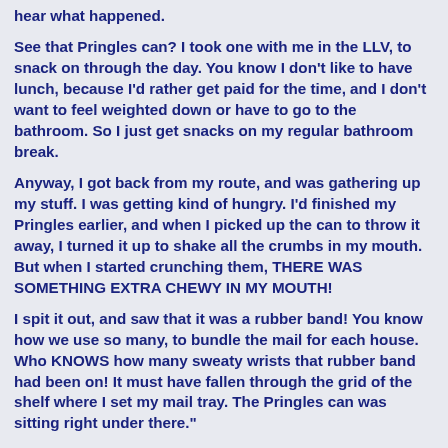hear what happened.
See that Pringles can? I took one with me in the LLV, to snack on through the day. You know I don't like to have lunch, because I'd rather get paid for the time, and I don't want to feel weighted down or have to go to the bathroom. So I just get snacks on my regular bathroom break.
Anyway, I got back from my route, and was gathering up my stuff. I was getting kind of hungry. I'd finished my Pringles earlier, and when I picked up the can to throw it away, I turned it up to shake all the crumbs in my mouth. But when I started crunching them, THERE WAS SOMETHING EXTRA CHEWY IN MY MOUTH!
I spit it out, and saw that it was a rubber band! You know how we use so many, to bundle the mail for each house. Who KNOWS how many sweaty wrists that rubber band had been on! It must have fallen through the grid of the shelf where I set my mail tray. The Pringles can was sitting right under there."